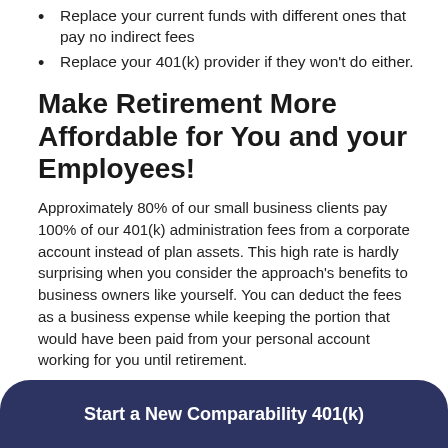Replace your current funds with different ones that pay no indirect fees
Replace your 401(k) provider if they won't do either.
Make Retirement More Affordable for You and your Employees!
Approximately 80% of our small business clients pay 100% of our 401(k) administration fees from a corporate account instead of plan assets. This high rate is hardly surprising when you consider the approach's benefits to business owners like yourself. You can deduct the fees as a business expense while keeping the portion that would have been paid from your personal account working for you until retirement.
The kicker – your employees will pay lower 401(k) fees too!
Start a New Comparability 401(k)